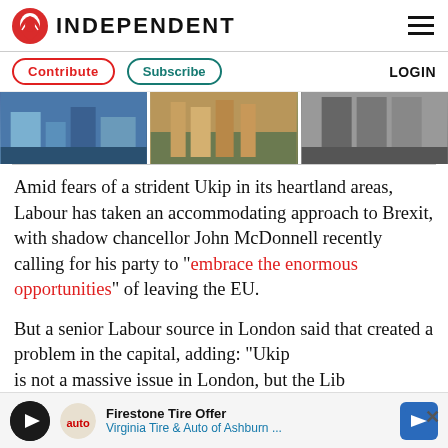INDEPENDENT
[Figure (screenshot): Navigation bar with Contribute and Subscribe buttons, and LOGIN link]
[Figure (photo): Three thumbnail images in a horizontal strip]
Amid fears of a strident Ukip in its heartland areas, Labour has taken an accommodating approach to Brexit, with shadow chancellor John McDonnell recently calling for his party to "embrace the enormous opportunities" of leaving the EU.
But a senior Labour source in London said that created a problem in the capital, adding: "Ukip is not a massive issue in London, but the Lib
[Figure (screenshot): Advertisement bar: Firestone Tire Offer - Virginia Tire & Auto of Ashburn with blue arrow logo]